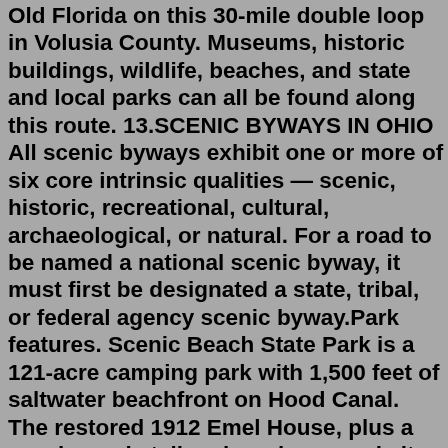Old Florida on this 30-mile double loop in Volusia County. Museums, historic buildings, wildlife, beaches, and state and local parks can all be found along this route. 13.SCENIC BYWAYS IN OHIO All scenic byways exhibit one or more of six core intrinsic qualities — scenic, historic, recreational, cultural, archaeological, or natural. For a road to be named a national scenic byway, it must first be designated a state, tribal, or federal agency scenic byway.Park features. Scenic Beach State Park is a 121-acre camping park with 1,500 feet of saltwater beachfront on Hood Canal. The restored 1912 Emel House, plus a gazebo and stellar views have made it a popular wedding venue. The park is known for its wild, native rhododendrons in spring. Automated pay stations: This park is equipped with automated ...Renault Scénic. The Renault Scénic ( French pronunciation: [senik]) is a car which was produced by French car manufacturer Renault, the first to be labelled as a small multi-purpose vehicle (MPV) in Europe. The